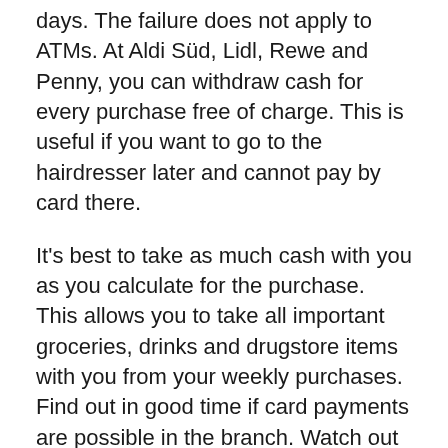days. The failure does not apply to ATMs. At Aldi Süd, Lidl, Rewe and Penny, you can withdraw cash for every purchase free of charge. This is useful if you want to go to the hairdresser later and cannot pay by card there.
It's best to take as much cash with you as you calculate for the purchase. This allows you to take all important groceries, drinks and drugstore items with you from your weekly purchases. Find out in good time if card payments are possible in the branch. Watch out for announcements at the entrance and announcements in the branch.
The corresponding notes look like this: